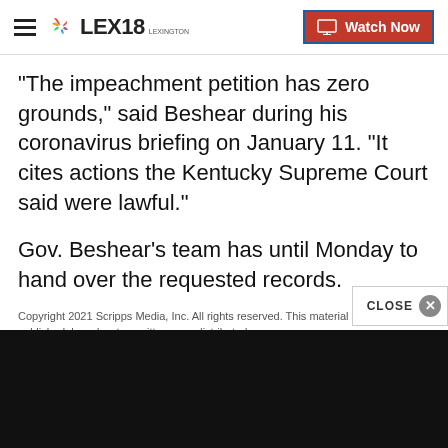LEX18 | Watch Now
"The impeachment petition has zero grounds," said Beshear during his coronavirus briefing on January 11. "It cites actions the Kentucky Supreme Court said were lawful."
Gov. Beshear’s team has until Monday to hand over the requested records.
Copyright 2021 Scripps Media, Inc. All rights reserved. This material may not be published, broadcast, rewritten, or redistributed.
Report a typo